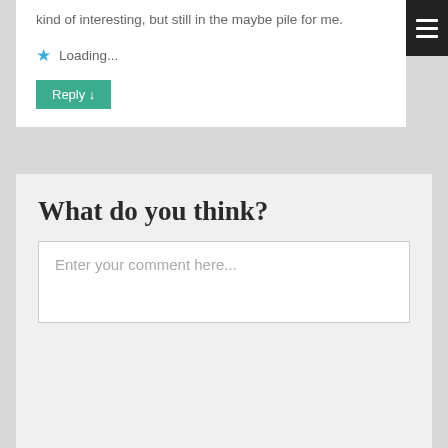kind of interesting, but still in the maybe pile for me.
Loading...
Reply ↓
What do you think?
Enter your comment here...